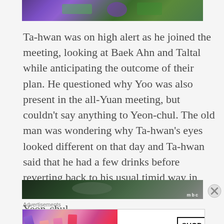[Figure (photo): Top portion of an image showing purple and green colors, likely flowers or decorative elements]
Ta-hwan was on high alert as he joined the meeting, looking at Baek Ahn and Taltal while anticipating the outcome of their plan. He questioned why Yoo was also present in the all-Yuan meeting, but couldn't say anything to Yeon-chul. The old man was wondering why Ta-hwan's eyes looked different on that day and Ta-hwan said that he had a few drinks before reverting back to his usual timid way in front of the old man. If only you knew, Yeon-chul...
[Figure (photo): Bottom portion of an image with green/dark background and MBC watermark in bottom right]
Advertisements
[Figure (photo): MAC cosmetics advertisement showing lipsticks in purple, pink, and red colors with MAC logo and SHOP NOW button]